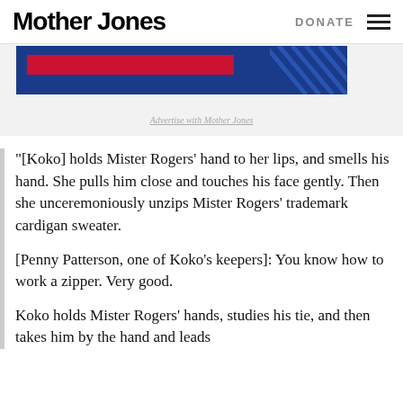Mother Jones | DONATE
[Figure (other): Advertisement banner with blue background, red bar and diagonal lines pattern. Caption: Advertise with Mother Jones]
Advertise with Mother Jones
“[Koko] holds Mister Rogers’ hand to her lips, and smells his hand. She pulls him close and touches his face gently. Then she unceremoniously unzips Mister Rogers’ trademark cardigan sweater.
[Penny Patterson, one of Koko’s keepers]: You know how to work a zipper. Very good.
Koko holds Mister Rogers’ hands, studies his tie, and then takes him by the hand and leads